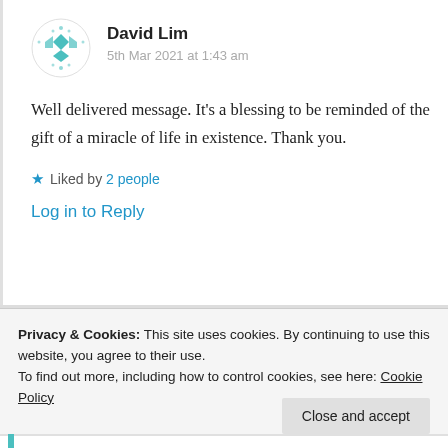[Figure (illustration): Teal geometric/diamond pattern avatar icon for user David Lim]
David Lim
5th Mar 2021 at 1:43 am
Well delivered message. It’s a blessing to be reminded of the gift of a miracle of life in existence. Thank you.
★ Liked by 2 people
Log in to Reply
Privacy & Cookies: This site uses cookies. By continuing to use this website, you agree to their use.
To find out more, including how to control cookies, see here: Cookie Policy
Close and accept